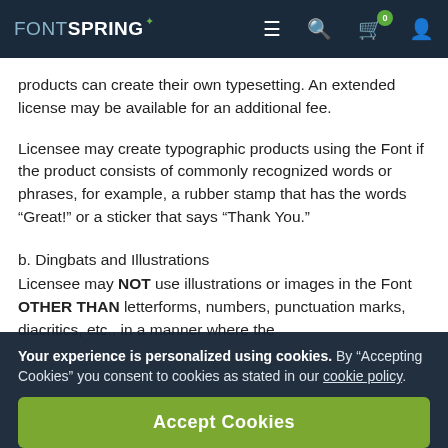FONTSPRING — navigation bar with menu, search, cart (0), and account icons
products can create their own typesetting. An extended license may be available for an additional fee.
Licensee may create typographic products using the Font if the product consists of commonly recognized words or phrases, for example, a rubber stamp that has the words “Great!” or a sticker that says “Thank You.”
b. Dingbats and Illustrations
Licensee may NOT use illustrations or images in the Font OTHER THAN letterforms, numbers, punctuation marks, diacritics, etc., in a manner where the
Your experience is personalized using cookies. By “Accepting Cookies” you consent to cookies as stated in our cookie policy.
Accept Cookies